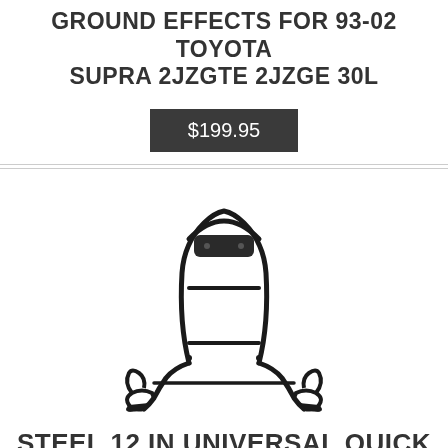GROUND EFFECTS FOR 93-02 TOYOTA SUPRA 2JZGTE 2JZGE 30L
$199.95
[Figure (photo): Black steel motorcycle/vehicle sissy bar backrest rack with mounting brackets, shown on white background.]
STEEL 12 IN UNIVERSAL QUICK